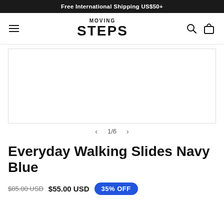Free International Shipping US$50+
[Figure (logo): Moving Steps logo with hamburger menu, search icon, and bag icon in navigation bar]
[Figure (photo): Product image area showing Everyday Walking Slides Navy Blue, slide 1 of 6]
1/6
Everyday Walking Slides Navy Blue
$85.00 USD  $55.00 USD  35% OFF